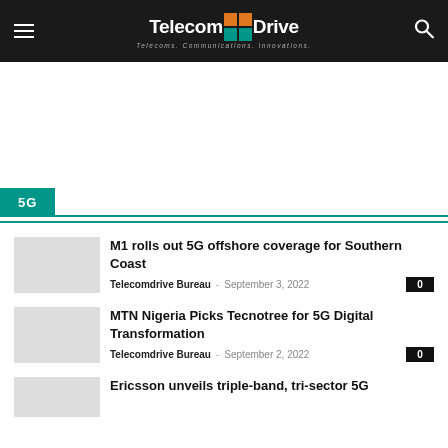TelecomDrive — Telecoms. Communications. Innovations.
5G
M1 rolls out 5G offshore coverage for Southern Coast
Telecomdrive Bureau - September 3, 2022
MTN Nigeria Picks Tecnotree for 5G Digital Transformation
Telecomdrive Bureau - September 2, 2022
Ericsson unveils triple-band, tri-sector 5G